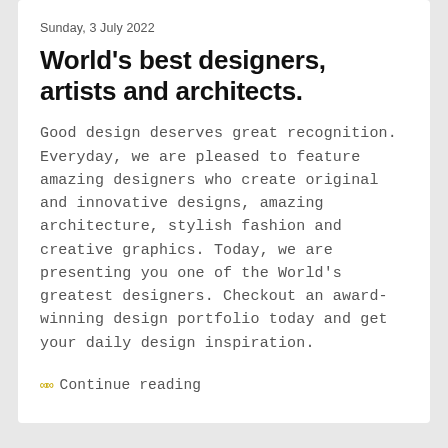Sunday, 3 July 2022
World's best designers, artists and architects.
Good design deserves great recognition. Everyday, we are pleased to feature amazing designers who create original and innovative designs, amazing architecture, stylish fashion and creative graphics. Today, we are presenting you one of the World's greatest designers. Checkout an award-winning design portfolio today and get your daily design inspiration.
∞∞  Continue reading